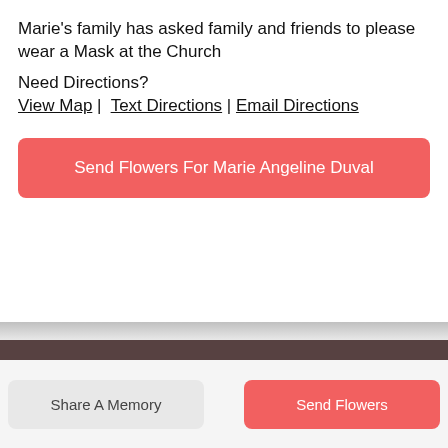Marie's family has asked family and friends to please wear a Mask at the Church
Need Directions?
View Map | Text Directions | Email Directions
Send Flowers For Marie Angeline Duval
Share A Memory
Send Flowers